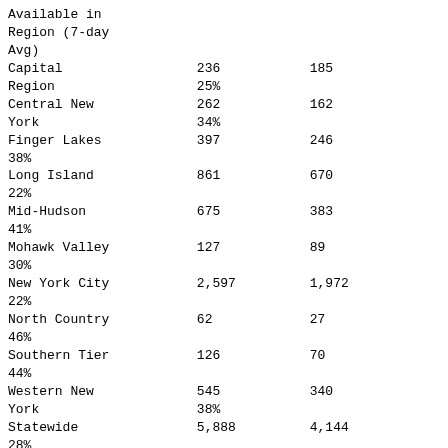|  | Available in Region (7-day Avg) |  |
| --- | --- | --- |
| Capital Region | 236
25% | 185 |
| Central New York | 262
34% | 162 |
| Finger Lakes | 397
38% | 246 |
| Long Island | 861
22% | 670 |
| Mid-Hudson | 675
41% | 383 |
| Mohawk Valley | 127
30% | 89 |
| New York City | 2,597
22% | 1,972 |
| North Country | 62
46% | 27 |
| Southern Tier | 126
44% | 70 |
| Western New York | 545
38% | 340 |
| Statewide | 5,888
28% | 4,144 |